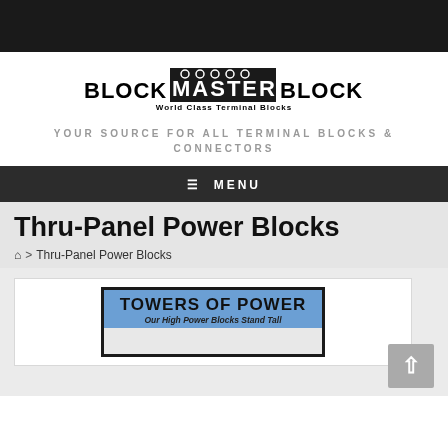[Figure (logo): BlockMaster Blocks logo with tagline 'World Class Terminal Blocks']
YOUR SOURCE FOR ALL TERMINAL BLOCKS & CONNECTORS
≡ MENU
Thru-Panel Power Blocks
🏠 > Thru-Panel Power Blocks
[Figure (screenshot): Towers of Power banner image showing product advertisement with blue header and text 'TOWERS OF POWER - Our High Power Blocks Stand Tall']